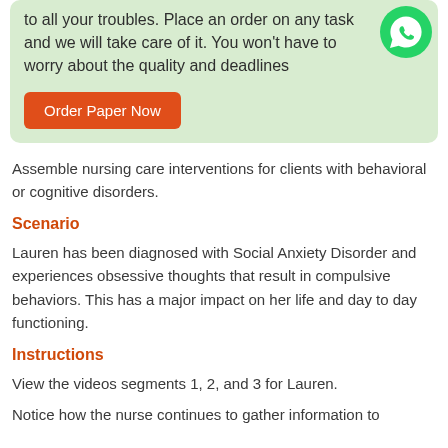to all your troubles. Place an order on any task and we will take care of it. You won't have to worry about the quality and deadlines
Order Paper Now
Assemble nursing care interventions for clients with behavioral or cognitive disorders.
Scenario
Lauren has been diagnosed with Social Anxiety Disorder and experiences obsessive thoughts that result in compulsive behaviors. This has a major impact on her life and day to day functioning.
Instructions
View the videos segments 1, 2, and 3 for Lauren.
Notice how the nurse continues to gather information to